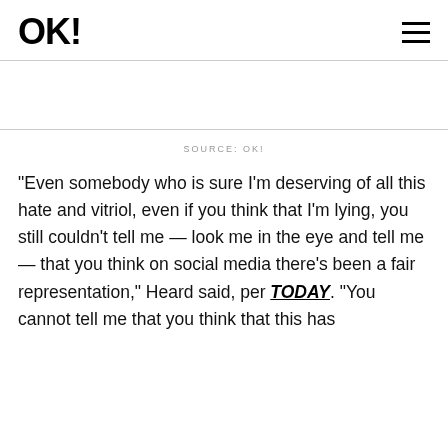OK!
SOURCE: OK!
"Even somebody who is sure I'm deserving of all this hate and vitriol, even if you think that I'm lying, you still couldn't tell me — look me in the eye and tell me — that you think on social media there's been a fair representation," Heard said, per TODAY. "You cannot tell me that you think that this has